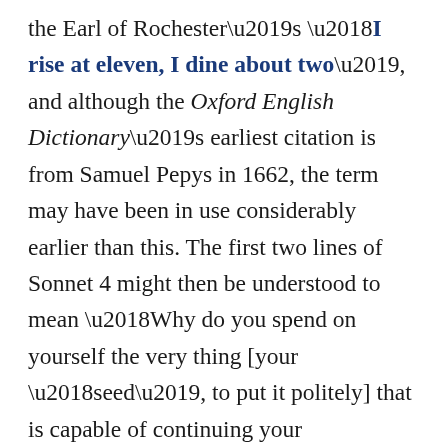the Earl of Rochester's 'I rise at eleven, I dine about two', and although the Oxford English Dictionary's earliest citation is from Samuel Pepys in 1662, the term may have been in use considerably earlier than this. The first two lines of Sonnet 4 might then be understood to mean 'Why do you spend on yourself the very thing [your 'seed', to put it politely] that is capable of continuing your beauty's legacy [i.e. a child]?' Perhaps not; but because we encountered such suggestive language in the earlier sonnets, our ears and eyes are, to an extent, primed to pick up on it, even if the evidence is less persuasive in this case.